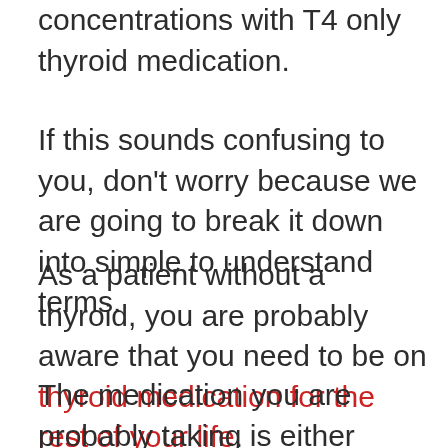concentrations with T4 only thyroid medication.
If this sounds confusing to you, don't worry because we are going to break it down into simple to understand terms.
As a patient without a thyroid, you are probably aware that you need to be on thyroid medication for the rest of your life.
The medication you are probably taking is either levothyroxine or Synthroid as these are the most commonly prescribed